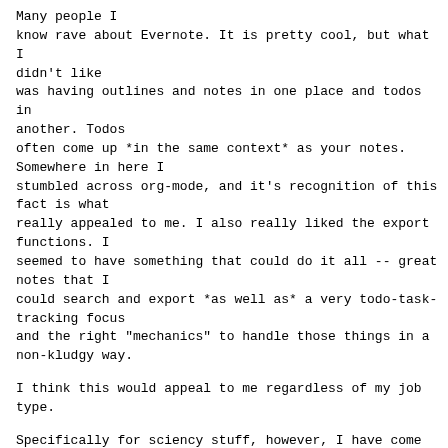Many people I
know rave about Evernote. It is pretty cool, but what I
didn't like
was having outlines and notes in one place and todos in
another. Todos
often come up *in the same context* as your notes.
Somewhere in here I
stumbled across org-mode, and it's recognition of this
fact is what
really appealed to me. I also really liked the export
functions. I
seemed to have something that could do it all -- great
notes that I
could search and export *as well as* a very todo-task-
tracking focus
and the right "mechanics" to handle those things in a
non-kludgy way.
I think this would appeal to me regardless of my job
type.
Specifically for sciency stuff, however, I have come to
love org-mode
for the ability to output my research into beautiful
reports via
LaTeX. I also often use my notes to generate beamer
presentations for
team meetings. I am leading my first product
development team and will
be using taskjuggler -- I may be able to build exports